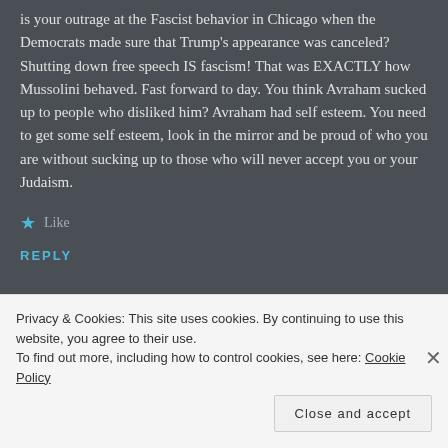is your outrage at the Fascist behavior in Chicago when the Democrats made sure that Trump's appearance was canceled? Shutting down free speech IS fascism! That was EXACTLY how Mussolini behaved. Fast forward to day. You think Avraham sucked up to people who disliked him? Avraham had self esteem. You need to get some self esteem, look in the mirror and be proud of who you are without sucking up to those who will never accept you or your Judaism.
Like
REPLY
Privacy & Cookies: This site uses cookies. By continuing to use this website, you agree to their use. To find out more, including how to control cookies, see here: Cookie Policy
Close and accept